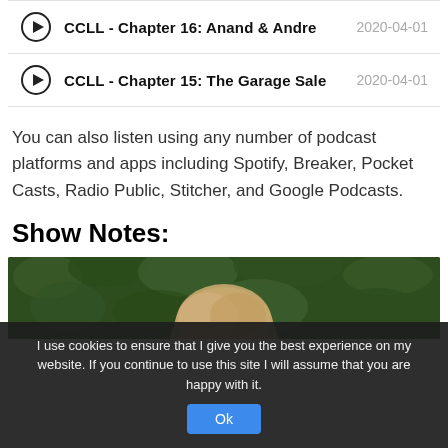CCLL - Chapter 16: Anand & Andre  2020-04-01
CCLL - Chapter 15: The Garage Sale  2020-04-01
You can also listen using any number of podcast platforms and apps including Spotify, Breaker, Pocket Casts, Radio Public, Stitcher, and Google Podcasts.
Show Notes:
[Figure (photo): Photo of a person from behind with dark green foliage/hedge in background]
I use cookies to ensure that I give you the best experience on my website. If you continue to use this site I will assume that you are happy with it.